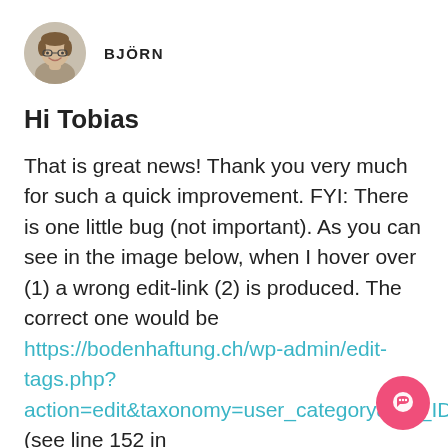[Figure (photo): Circular avatar photo of a smiling man with glasses, brown hair]
BJÖRN
Hi Tobias
That is great news! Thank you very much for such a quick improvement. FYI: There is one little bug (not important). As you can see in the image below, when I hover over (1) a wrong edit-link (2) is produced. The correct one would be https://bodenhaftung.ch/wp-admin/edit-tags.php?action=edit&taxonomy=user_category&tag_ID=29 (see line 152 in https://github.com/WordPress/WordPress/master/wp-admin/edit-tags.php).